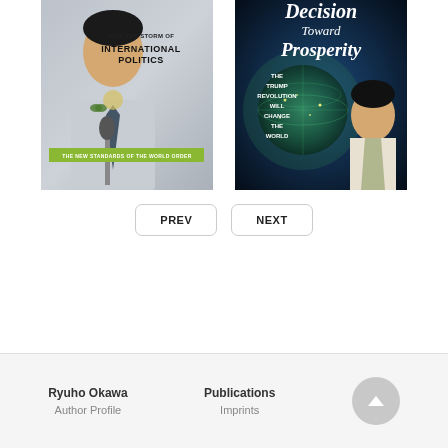[Figure (photo): Book cover: 'Into the Storm of International Politics' by Ryuho Okawa, showing a man in a grey suit at a microphone with text 'The New Standards of the World Order' on a green band]
[Figure (photo): Book cover: 'Decision Toward Prosperity - The Trump Revolution Will Change the World' by Ryuho Okawa, showing a man against a world map background]
PREV
NEXT
Ryuho Okawa
Author Profile
Publications
Imprints